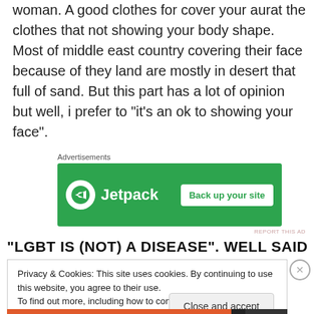woman. A good clothes for cover your aurat the clothes that not showing your body shape. Most of middle east country covering their face because of they land are mostly in desert that full of sand. But this part has a lot of opinion but well, i prefer to “it’s an ok to showing your face”.
Advertisements
[Figure (other): Jetpack advertisement banner on green background with 'Back up your site' button]
“LGBT IS (NOT) A DISEASE”. WELL SAID
Privacy & Cookies: This site uses cookies. By continuing to use this website, you agree to their use.
To find out more, including how to control cookies, see here: Cookie Policy
Close and accept